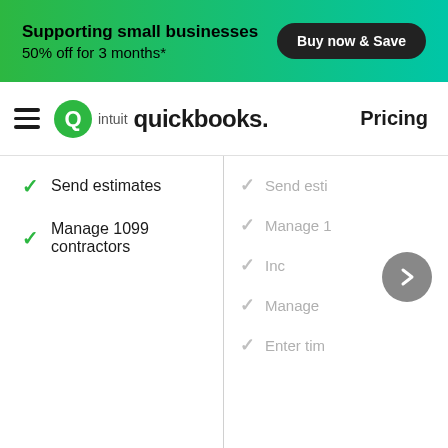Supporting small businesses
50% off for 3 months*
Buy now & Save
[Figure (logo): Intuit QuickBooks logo with green QB icon]
Pricing
Send estimates
Manage 1099 contractors
Send esti
Manage 1
Inc
Manage
Enter tim